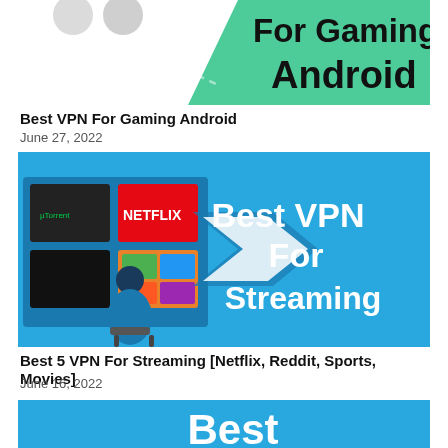[Figure (illustration): Partial banner image for 'Best VPN For Gaming Android' with green background and bold black text]
Best VPN For Gaming Android
June 27, 2022
[Figure (illustration): Banner for 'Best VPN For Streaming' with blue background, arrow/chevron shape, person at multiple screens including Netflix, uTorrent, Apple logos, with bold white text]
Best 5 VPN For Streaming [Netflix, Reddit, Sports, Movies]
June 16, 2022
[Figure (illustration): Partial banner image with blue background and partial white 'Best' text visible at bottom]